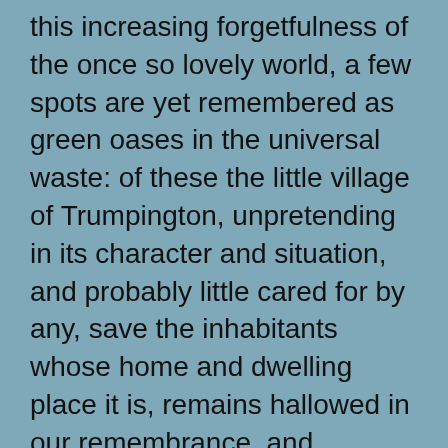this increasing forgetfulness of the once so lovely world, a few spots are yet remembered as green oases in the universal waste: of these the little village of Trumpington, unpretending in its character and situation, and probably little cared for by any, save the inhabitants whose home and dwelling place it is, remains hallowed in our remembrance, and associated with recollections of our College life ... The situation of Trumpington is not a happy one, there is a flatness about the country as you approach it from London that is more depressing to the heart of one accustomed to rough mountain scenery of Wales, or even the